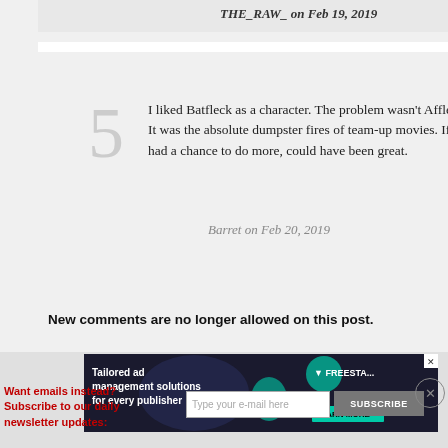THE_RAW_ on Feb 19, 2019
I liked Batfleck as a character. The problem wasn't Affleck. It was the absolute dumpster fires of team-up movies. If he'd had a chance to do more, could have been great.
Barret on Feb 20, 2019
It's okay. He seemed to do the gig for money, not passion.
DAVIDPD on Feb 20, 2019
New comments are no longer allowed on this post.
[Figure (infographic): Advertisement banner: Tailored ad management solutions for every publisher - Freestar, Learn More button]
Want emails instead? Subscribe to our daily newsletter updates: